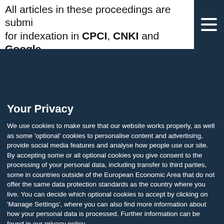All articles in these proceedings are submitted for indexation in CPCI, CNKI and Google
Your Privacy
We use cookies to make sure that our website works properly, as well as some 'optional' cookies to personalise content and advertising, provide social media features and analyse how people use our site. By accepting some or all optional cookies you give consent to the processing of your personal data, including transfer to third parties, some in countries outside of the European Economic Area that do not offer the same data protection standards as the country where you live. You can decide which optional cookies to accept by clicking on 'Manage Settings', where you can also find more information about how your personal data is processed. Further information can be found in our privacy policy.
Accept All Cookies
Reject Non Essential Cookies
Manage Preferences